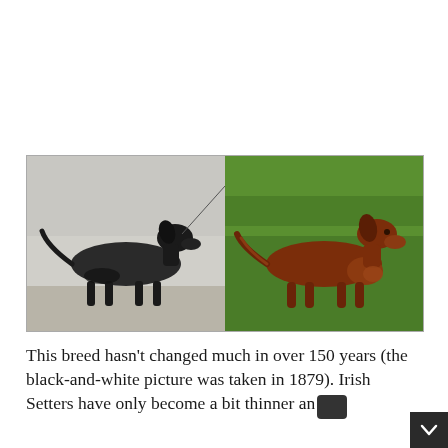[Figure (photo): Two side-by-side photos of Irish Setters. Left: a black-and-white historical photograph from 1879 of an Irish Setter standing on bare ground. Right: a color photo of a modern Irish Setter with rich mahogany-red coat standing on green grass.]
This breed hasn't changed much in over 150 years (the black-and-white picture was taken in 1879). Irish Setters have only become a bit thinner and